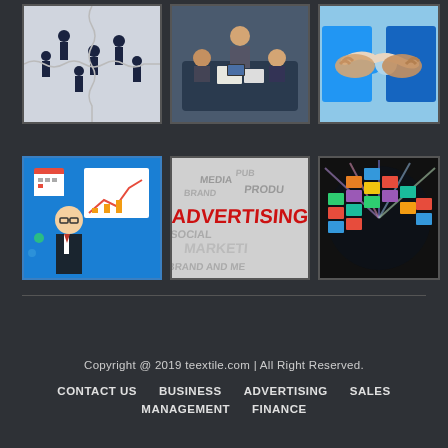[Figure (photo): Business people in suits standing on jigsaw puzzle pieces - teamwork/networking concept]
[Figure (photo): Business meeting with people around a table reviewing documents]
[Figure (photo): Two hands shaking with blue puzzle pieces in background - partnership concept]
[Figure (illustration): Cartoon businessman with glasses presenting a growth chart on a board]
[Figure (photo): 3D white text words including ADVERTISING, PRODUCT, MEDIA, MARKETING, SOCIAL in a word cloud]
[Figure (photo): Globe made of video screens with colorful media imagery]
Copyright @ 2019 teextile.com | All Right Reserved.
CONTACT US   BUSINESS   ADVERTISING   SALES
MANAGEMENT   FINANCE